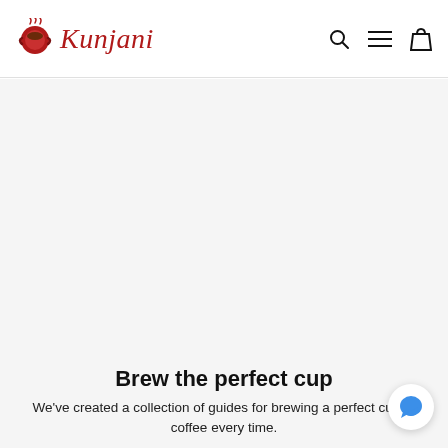Kunjani
[Figure (illustration): Large light gray hero image area (background placeholder)]
Brew the perfect cup
We've created a collection of guides for brewing a perfect cup of coffee every time.